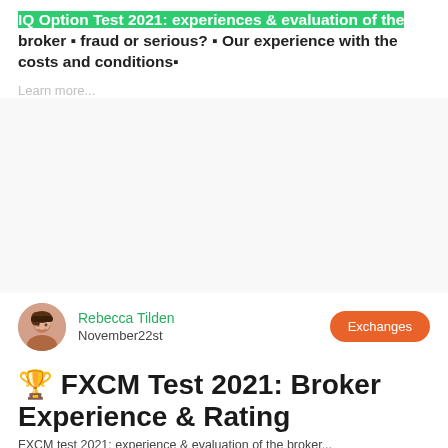IQ Option Test 2021: experiences & evaluation of the broker – fraud or serious? – Our experience with the costs and conditions–
Learn more...
Rebecca Tilden
November 22st
Exchanges
🏆 FXCM Test 2021: Broker Experience & Rating
FXCM test 2021: experience & evaluation of the broker...